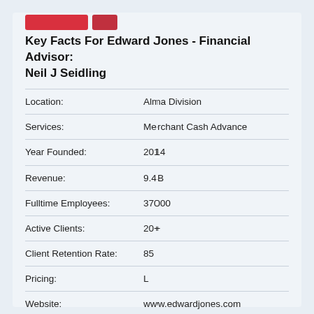Key Facts For Edward Jones - Financial Advisor: Neil J Seidling
| Field | Value |
| --- | --- |
| Location: | Alma Division |
| Services: | Merchant Cash Advance |
| Year Founded: | 2014 |
| Revenue: | 9.4B |
| Fulltime Employees: | 37000 |
| Active Clients: | 20+ |
| Client Retention Rate: | 85 |
| Pricing: | L |
| Website: | www.edwardjones.com |
| More Info: | View Profile |